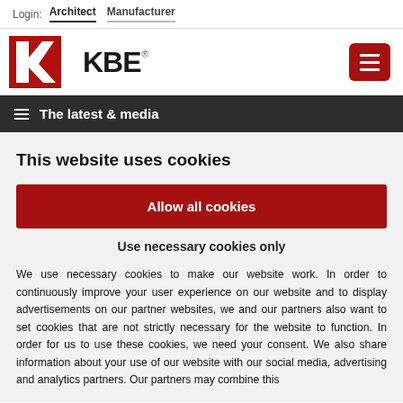Login: Architect Manufacturer
[Figure (logo): KBE logo with red K-arrow icon and bold KBE text, registered trademark symbol]
The latest & media
This website uses cookies
Allow all cookies
Use necessary cookies only
We use necessary cookies to make our website work. In order to continuously improve your user experience on our website and to display advertisements on our partner websites, we and our partners also want to set cookies that are not strictly necessary for the website to function. In order for us to use these cookies, we need your consent. We also share information about your use of our website with our social media, advertising and analytics partners. Our partners may combine this